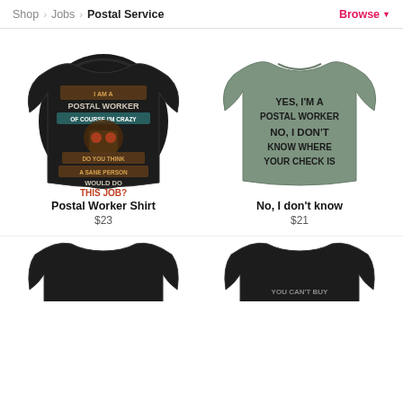Shop > Jobs > Postal Service  Browse
[Figure (photo): Black t-shirt showing back with text: I AM A POSTAL WORKER OF COURSE I'M CRAZY DO YOU THINK A SANE PERSON WOULD DO THIS JOB?]
[Figure (photo): Sage green t-shirt showing front with text: YES, I'M A POSTAL WORKER NO, I DON'T KNOW WHERE YOUR CHECK IS]
Postal Worker Shirt
$23
No, I don't know
$21
[Figure (photo): Black t-shirt partially visible at bottom left]
[Figure (photo): Black t-shirt partially visible at bottom right with text YOU CAN'T BUY]